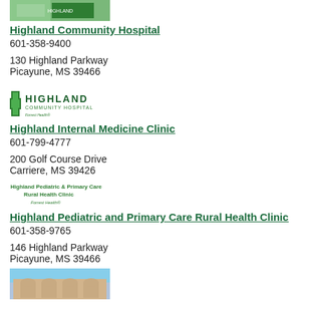[Figure (photo): Photo of Highland Community Hospital building exterior with green sign]
Highland Community Hospital
601-358-9400
130 Highland Parkway
Picayune, MS 39466
[Figure (logo): Highland Community Hospital logo with green cross and text 'Forrest Health']
Highland Internal Medicine Clinic
601-799-4777
200 Golf Course Drive
Carriere, MS 39426
[Figure (logo): Highland Pediatric & Primary Care Rural Health Clinic logo with Forrest Health branding]
Highland Pediatric and Primary Care Rural Health Clinic
601-358-9765
146 Highland Parkway
Picayune, MS 39466
[Figure (photo): Photo of a building exterior with arched windows and tan facade]